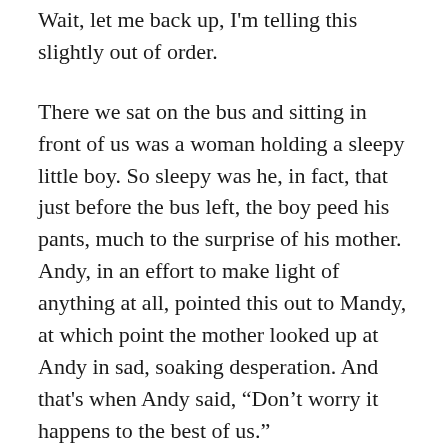Wait, let me back up, I'm telling this slightly out of order.
There we sat on the bus and sitting in front of us was a woman holding a sleepy little boy. So sleepy was he, in fact, that just before the bus left, the boy peed his pants, much to the surprise of his mother. Andy, in an effort to make light of anything at all, pointed this out to Mandy, at which point the mother looked up at Andy in sad, soaking desperation. And that's when Andy said, “Don’t worry it happens to the best of us.”
It was Mandy who jumped in and said that it had happened to “Ands” last night.
The four of us arrived at Epcot (dry, thankfully) and